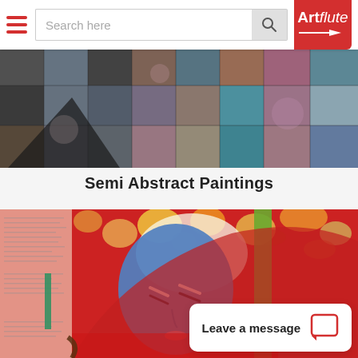Search here | Artflute
[Figure (photo): Wide horizontal abstract painting with dark textured grid-like patterns in grey, black, pink, and teal tones]
Semi Abstract Paintings
[Figure (photo): Semi-abstract painting featuring a stylized blue face figure with red background and colorful floral/abstract elements, green vertical stripe]
Leave a message